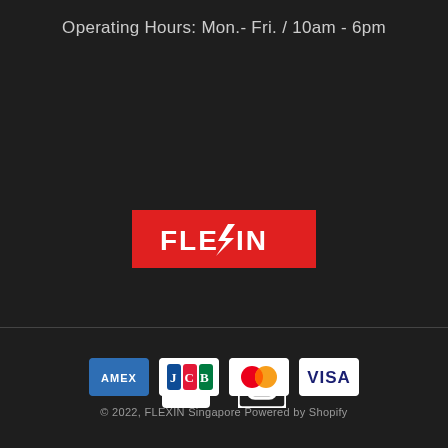Operating Hours: Mon.- Fri. / 10am - 6pm
[Figure (logo): FLEXIN brand logo — white bold text on red background with a lightning bolt replacing the X]
[Figure (infographic): Facebook and Instagram social media icons in white on dark background]
[Figure (infographic): Payment method icons: AMEX, JCB, Mastercard, Visa]
© 2022, FLEXIN Singapore Powered by Shopify